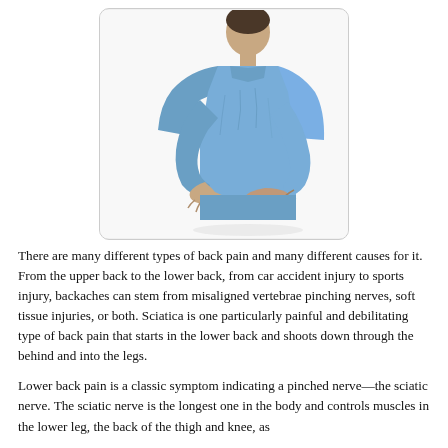[Figure (photo): A man in a blue shirt viewed from behind, reaching back to hold his lower back/lumbar area with both hands, suggesting lower back pain.]
There are many different types of back pain and many different causes for it. From the upper back to the lower back, from car accident injury to sports injury, backaches can stem from misaligned vertebrae pinching nerves, soft tissue injuries, or both. Sciatica is one particularly painful and debilitating type of back pain that starts in the lower back and shoots down through the behind and into the legs.
Lower back pain is a classic symptom indicating a pinched nerve—the sciatic nerve. The sciatic nerve is the longest one in the body and controls muscles in the lower leg, the back of the thigh and knee, as